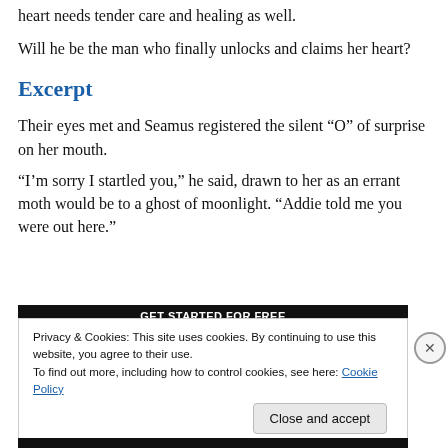heart needs tender care and healing as well.
Will he be the man who finally unlocks and claims her heart?
Excerpt
Their eyes met and Seamus registered the silent “O” of surprise on her mouth.
“I’m sorry I startled you,” he said, drawn to her as an errant moth would be to a ghost of moonlight. “Addie told me you were out here.”
[Figure (screenshot): Dark banner strip partially visible behind cookie notice]
Privacy & Cookies: This site uses cookies. By continuing to use this website, you agree to their use.
To find out more, including how to control cookies, see here: Cookie Policy